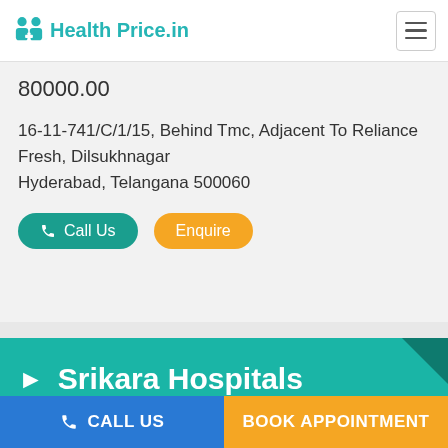Health Price.in
80000.00
16-11-741/C/1/15, Behind Tmc, Adjacent To Reliance Fresh, Dilsukhnagar
Hyderabad, Telangana 500060
Call Us   Enquire
Srikara Hospitals
Cost of Prostate Removal (TURP) Surgery ₹
CALL US   BOOK APPOINTMENT